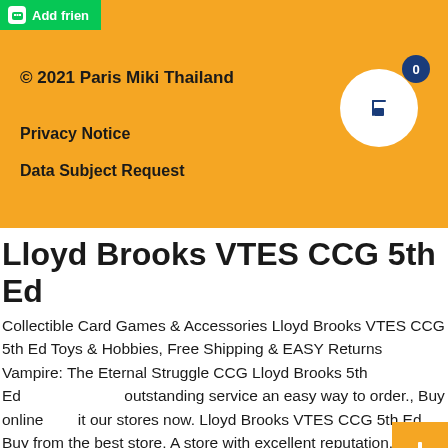[Figure (logo): Green LINE app Add friend button in top left corner]
© 2021 Paris Miki Thailand
[Figure (other): Shopping cart icon inside white circle with blue badge showing 0]
Privacy Notice
Data Subject Request
Lloyd Brooks VTES CCG 5th Ed
Collectible Card Games & Accessories Lloyd Brooks VTES CCG 5th Ed Toys & Hobbies, Free Shipping & EASY Returns Vampire: The Eternal Struggle CCG Lloyd Brooks 5th Ed outstanding service an easy way to order., Buy online it our stores now. Lloyd Brooks VTES CCG 5th Ed Buy from the best store, A store with excellent reputation. Lloyd Brooks VTES CCG 5th Ed BEST Price Guaranteed.